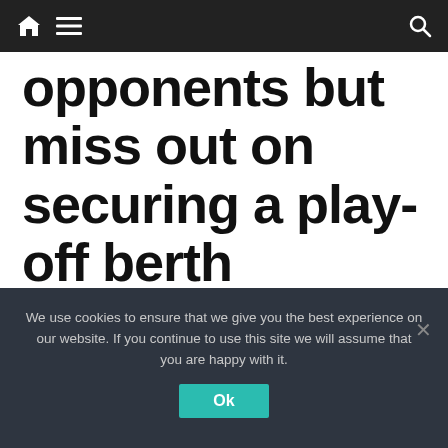Navigation bar with home, menu, and search icons
opponents but miss out on securing a play-off berth
Gloucester won 54-7 against Saracens but missed out on a play-off place
Saracens made 15 changes, with Jack Singleton getting two tries for Gloucester
Northampton's win against Newcastle left Gloucester in fifth place in the table
We use cookies to ensure that we give you the best experience on our website. If you continue to use this site we will assume that you are happy with it.